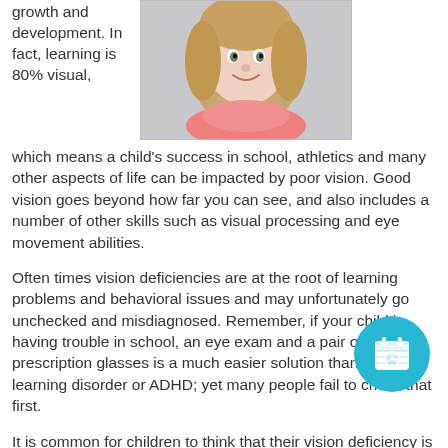growth and development. In fact, learning is 80% visual, which means a child's success in school, athletics and many other aspects of life can be impacted by poor vision. Good vision goes beyond how far you can see, and also includes a number of other skills such as visual processing and eye movement abilities.
[Figure (photo): Photo of a young blonde girl smiling, wearing a pink/coral scarf, against a light grey background]
Often times vision deficiencies are at the root of learning problems and behavioral issues and may unfortunately go unchecked and misdiagnosed. Remember, if your child is having trouble in school, an eye exam and a pair of prescription glasses is a much easier solution than treating a learning disorder or ADHD; yet many people fail to check that first.
It is common for children to think that their vision deficiency is normal and therefore they often won't report it to parents or
[Figure (illustration): Circular teal/cyan button with a calendar icon (white calendar with clock-like hands)]